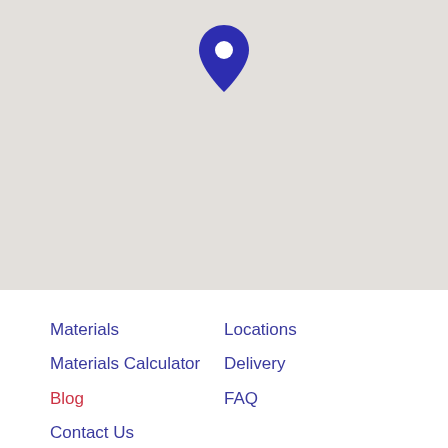[Figure (map): A light grey map area with a dark blue location pin marker near the top center.]
Materials
Materials Calculator
Blog
Contact Us
Locations
Delivery
FAQ